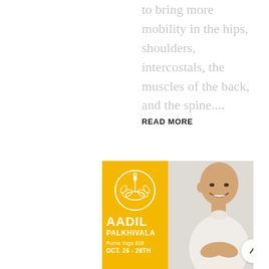to bring more mobility in the hips, shoulders, intercostals, the muscles of the back, and the spine....
READ MORE
[Figure (photo): Promotional banner for Aadil Palkhivala yoga event. Left yellow panel with circular lotus logo and text 'AADIL PALKHIVALA Purna Yoga 828 OCT. 26 - 28TH'. Right panel shows photo of bald smiling man in white traditional Indian attire with hands in prayer position (namaste), against light gray background. A circular scroll-up button is overlaid at lower right.]